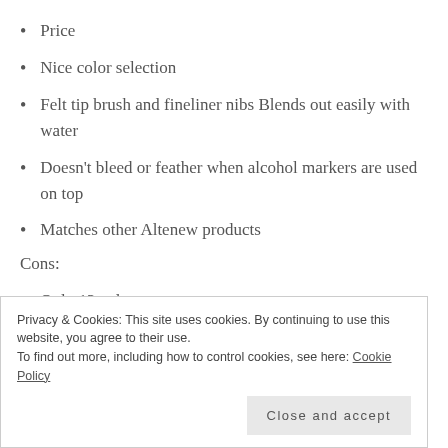Price
Nice color selection
Felt tip brush and fineliner nibs Blends out easily with water
Doesn't bleed or feather when alcohol markers are used on top
Matches other Altenew products
Cons:
Only 12 colors
Privacy & Cookies: This site uses cookies. By continuing to use this website, you agree to their use.
To find out more, including how to control cookies, see here: Cookie Policy
Close and accept